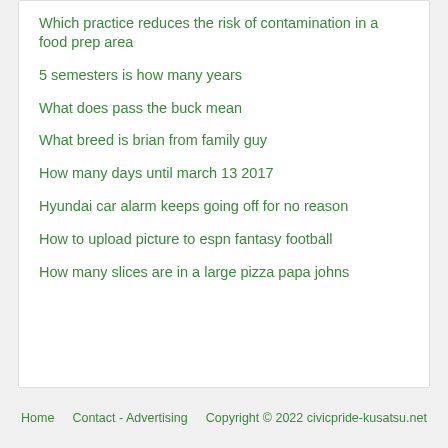Which practice reduces the risk of contamination in a food prep area
5 semesters is how many years
What does pass the buck mean
What breed is brian from family guy
How many days until march 13 2017
Hyundai car alarm keeps going off for no reason
How to upload picture to espn fantasy football
How many slices are in a large pizza papa johns
Home   Contact - Advertising   Copyright © 2022 civicpride-kusatsu.net